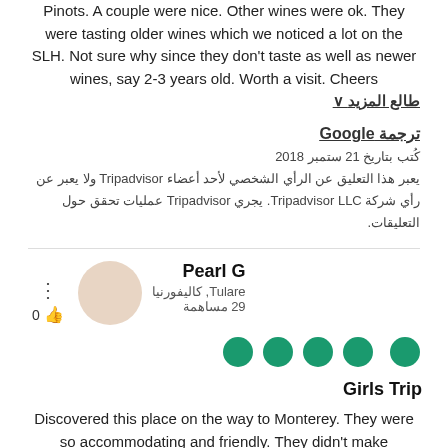Pinots. A couple were nice. Other wines were ok. They were tasting older wines which we noticed a lot on the SLH. Not sure why since they don't taste as well as newer wines, say 2-3 years old. Worth a visit. Cheers
طالع المزيد ∨
ترجمة Google
كُتب بتاريخ 21 ستمبر 2018
يعبر هذا التعليق عن الرأي الشخصي لأحد أعضاء Tripadvisor ولا يعبر عن رأي شركة Tripadvisor LLC. يجري Tripadvisor عمليات تحقق حول التعليقات.
Pearl G
Tulare, كاليفورنيا
29 مساهمة
[Figure (other): Five green circle rating dots (4-star equivalent rating)]
Girls Trip
Discovered this place on the way to Monterey. They were so accommodating and friendly. They didn't make